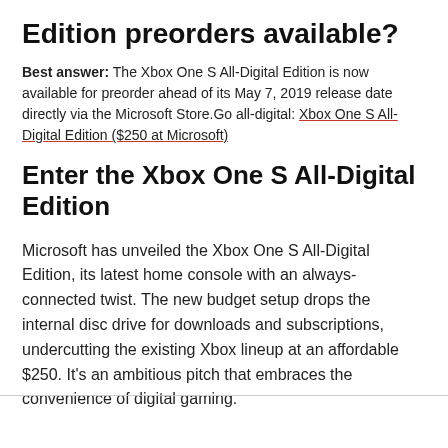Edition preorders available?
Best answer: The Xbox One S All-Digital Edition is now available for preorder ahead of its May 7, 2019 release date directly via the Microsoft Store.Go all-digital: Xbox One S All-Digital Edition ($250 at Microsoft)
Enter the Xbox One S All-Digital Edition
Microsoft has unveiled the Xbox One S All-Digital Edition, its latest home console with an always-connected twist. The new budget setup drops the internal disc drive for downloads and subscriptions, undercutting the existing Xbox lineup at an affordable $250. It's an ambitious pitch that embraces the convenience of digital gaming.